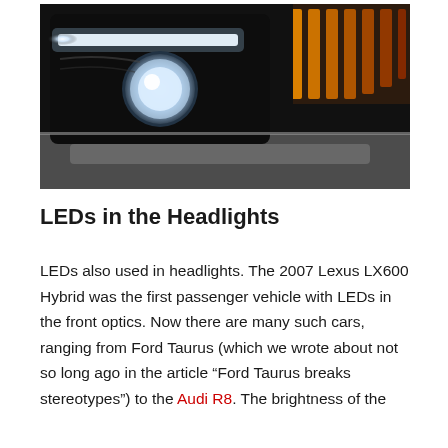[Figure (photo): Close-up photograph of a modern car headlight assembly showing bright white LED daytime running lights and orange/amber accent LEDs against a dark background, with the car's glossy black front fascia visible.]
LEDs in the Headlights
LEDs also used in headlights. The 2007 Lexus LX600 Hybrid was the first passenger vehicle with LEDs in the front optics. Now there are many such cars, ranging from Ford Taurus (which we wrote about not so long ago in the article “Ford Taurus breaks stereotypes”) to the Audi R8. The brightness of the